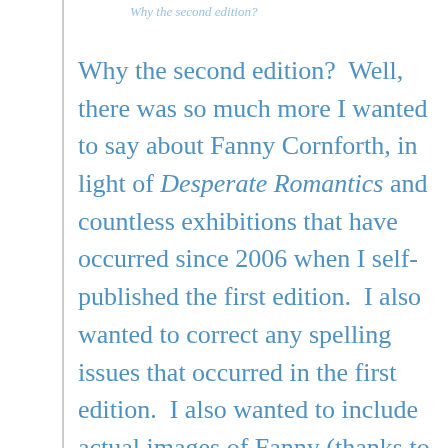Why the second edition?
Why the second edition?  Well, there was so much more I wanted to say about Fanny Cornforth, in light of Desperate Romantics and countless exhibitions that have occurred since 2006 when I self-published the first edition.  I also wanted to correct any spelling issues that occurred in the first edition.  I also wanted to include actual images of Fanny (thanks to the generosity of the museums and galleries involved) and I can show you a tiddy cheque (thank you Lila) and a